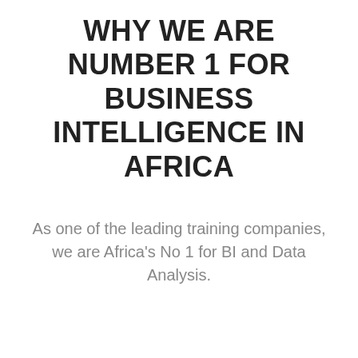WHY WE ARE NUMBER 1 FOR BUSINESS INTELLIGENCE IN AFRICA
As one of the leading training companies, we are Africa's No 1 for BI and Data Analysis.